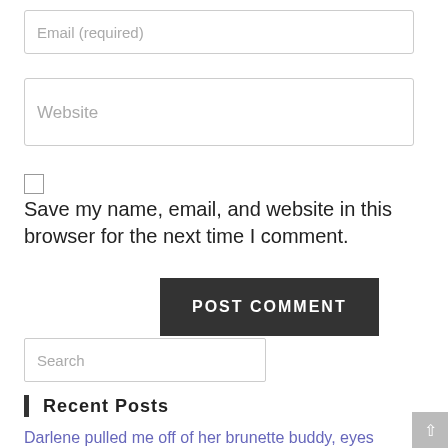[Figure (screenshot): Email (required) input field]
[Figure (screenshot): Website input field]
Save my name, email, and website in this browser for the next time I comment.
[Figure (screenshot): POST COMMENT button]
[Figure (screenshot): Search input field]
Recent Posts
Darlene pulled me off of her brunette buddy, eyes nevertheless full of lust, as my cock slipped wetly from between Karen's